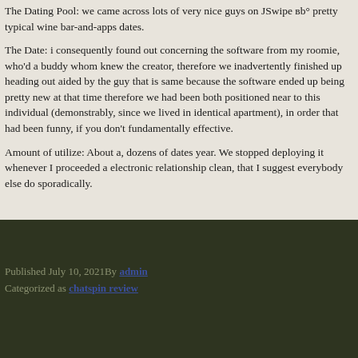The Dating Pool: we came across lots of very nice guys on JSwipe вb° pretty typical wine bar-and-apps dates.
The Date: i consequently found out concerning the software from my roomie, who'd a buddy whom knew the creator, therefore we inadvertently finished up heading out aided by the guy that is same because the software ended up being pretty new at that time therefore we had been both positioned near to this individual (demonstrably, since we lived in identical apartment), in order that had been funny, if you don't fundamentally effective.
Amount of utilize: About a, dozens of dates year. We stopped deploying it whenever I proceeded a electronic relationship clean, that I suggest everybody else do sporadically.
Published July 10, 2021By admin
Categorized as chatspin review